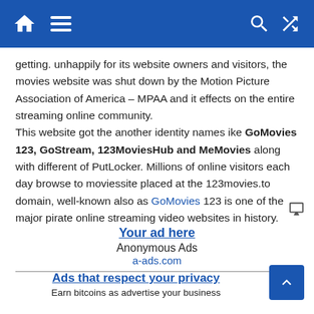[Navigation bar with home, menu, search, and shuffle icons]
getting. unhappily for its website owners and visitors, the movies website was shut down by the Motion Picture Association of America – MPAA and it effects on the entire streaming online community. This website got the another identity names ike GoMovies 123, GoStream, 123MoviesHub and MeMovies along with different of PutLocker. Millions of online visitors each day browse to moviessite placed at the 123movies.to domain, well-known also as GoMovies 123 is one of the major pirate online streaming video websites in history.
[Figure (other): Advertisement block: 'Your ad here' link, Anonymous Ads, a-ads.com]
[Figure (other): Advertisement block: 'Ads that respect your privacy' link, Earn bitcoins as advertise your business]